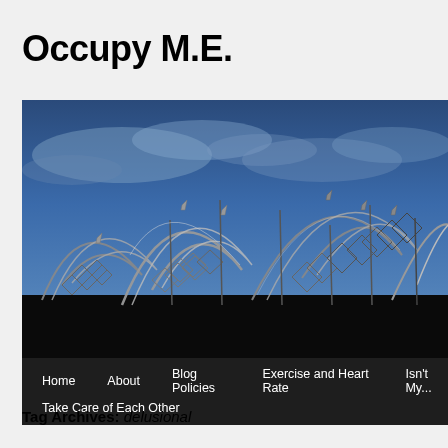Occupy M.E.
[Figure (photo): Photograph of coiled razor wire / barbed wire against a blue sky with clouds, serving as the website banner image for Occupy M.E.]
Home   About   Blog Policies   Exercise and Heart Rate   Isn't My...   Take Care of Each Other
Tag Archives: delusional